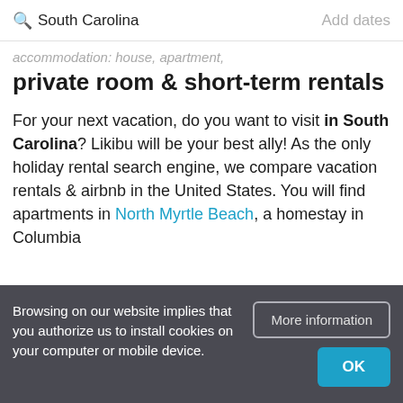South Carolina   Add dates
accommodation: house, apartment, private room & short-term rentals
For your next vacation, do you want to visit in South Carolina? Likibu will be your best ally! As the only holiday rental search engine, we compare vacation rentals & airbnb in the United States. You will find apartments in North Myrtle Beach, a homestay in Columbia
Browsing on our website implies that you authorize us to install cookies on your computer or mobile device.